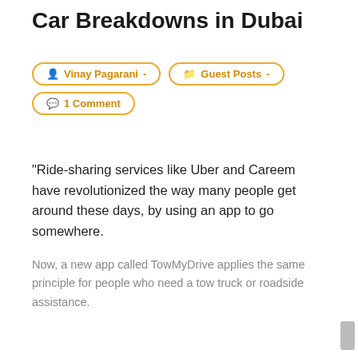Car Breakdowns in Dubai
Vinay Pagarani -
Guest Posts -
1 Comment
“Ride-sharing services like Uber and Careem have revolutionized the way many people get around these days, by using an app to go somewhere.
Now, a new app called TowMyDrive applies the same principle for people who need a tow truck or roadside assistance.